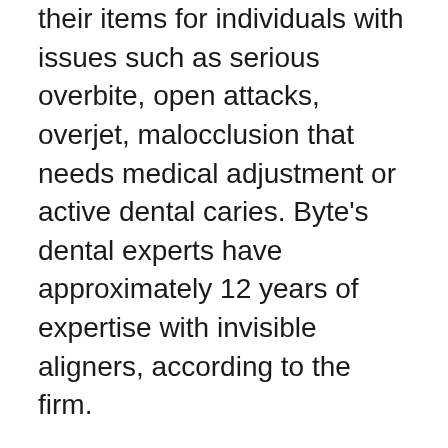their items for individuals with issues such as serious overbite, open attacks, overjet, malocclusion that needs medical adjustment or active dental caries. Byte's dental experts have approximately 12 years of expertise with invisible aligners, according to the firm.
Byte is perfect for those who do not have serious malocclusion (incomplete positioning of the teeth), fit making at-home impacts and collaborating with an oral professional from another location to monitor their progress, desire a short therapy time of a few months and also are in search of an extra budget friendly choice compared to dental braces or completing clear aligners.
Just How Byte